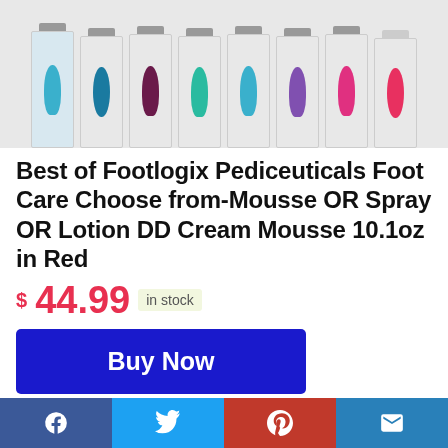[Figure (photo): Row of Footlogix Pediceuticals product bottles (mousse, spray, lotion, DD cream) in various colors including teal, burgundy, blue, and pink, shown against white background]
Best of Footlogix Pediceuticals Foot Care Choose from-Mousse OR Spray OR Lotion DD Cream Mousse 10.1oz in Red
$44.99 in stock
Buy Now
Groupon